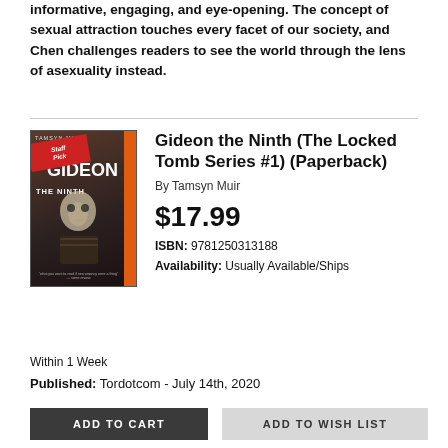informative, engaging, and eye-opening. The concept of sexual attraction touches every facet of our society, and Chen challenges readers to see the world through the lens of asexuality instead.
[Figure (illustration): Book cover for Gideon the Ninth featuring a dark gothic illustration with a skull figure, orange spine, and a red Staff Pick ribbon in the top-left corner.]
Gideon the Ninth (The Locked Tomb Series #1) (Paperback)
By Tamsyn Muir
$17.99
ISBN: 9781250313188
Availability: Usually Available/Ships Within 1 Week
Published: Tordotcom - July 14th, 2020
ADD TO CART
ADD TO WISH LIST